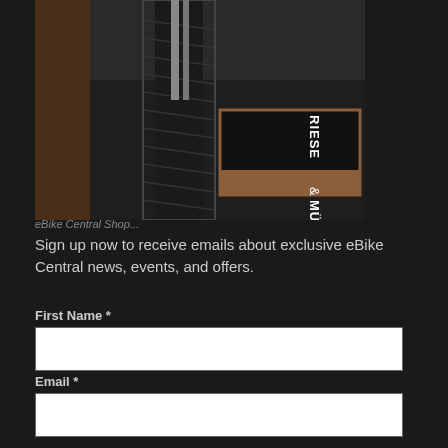[Figure (photo): Close-up photo of a bicycle tire/wheel on a dark floor with a Riese & Müller branded floor mat visible to the right. The mat is black with white text reading 'RIESE & MÜLLER' in bold letters at an angle.]
Sign up now to receive emails about exclusive eBike Central news, events, and offers.
First Name *
Email *